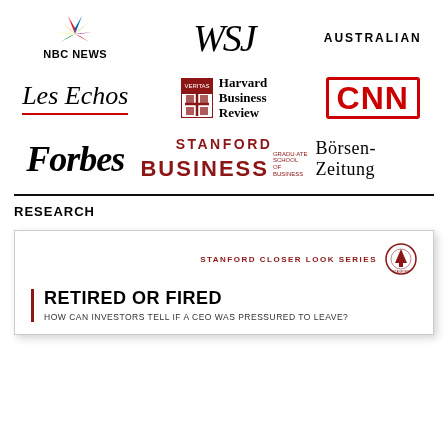[Figure (logo): NBC News logo with peacock graphic]
[Figure (logo): WSJ (Wall Street Journal) logo in serif font]
[Figure (logo): The Australian newspaper logo in uppercase letters]
[Figure (logo): Les Echos logo in italic serif font with red underline]
[Figure (logo): Harvard Business Review logo with shield emblem]
[Figure (logo): CNN logo in red box]
[Figure (logo): Forbes logo in bold italic serif]
[Figure (logo): Stanford Graduate School of Business logo in red]
[Figure (logo): Borsen-Zeitung logo in serif font]
RESEARCH
[Figure (screenshot): Stanford Closer Look Series paper thumbnail: RETIRED OR FIRED - HOW CAN INVESTORS TELL IF A CEO WAS PRESSURED TO LEAVE?]